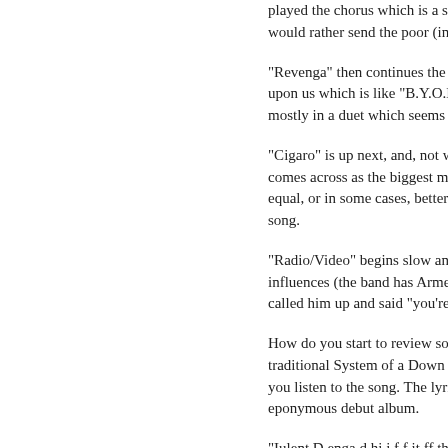played the chorus which is a slow, almost pop music style ditty, a System of a Down until the post-chorus began. The song is about would rather send the poor (in this case soldiers) to fight their bat greed.
"Revenga" then continues the very heavy guitars at a furious pace that to this day I still have no idea how Serj sings that fast, and be is upon us which is like "B.Y.O.B.", in that it's harmonious and slow Like a lot of the songs on this album, I do love the way Serj and D mostly in a duet which seems to work out pretty well. It's a song a by a former girlfriend and exacting that revenge on her.
"Cigaro" is up next, and, not wanting to get too much into the lyric wouldn't want me to if you knew what they were, it's a song about comes across as the biggest monster in the movies, or the guy wi other meanings for acting like the big cheese, when, in fact, there equal, or in some cases, better. Musically, it's another excellent so also sounds like the band is having fun and you shouldn't take the song.
"Radio/Video" begins slow and acoustic but as soon as Serj and D me rocking now", you know you're in for a treat. It's a catchy song influences (the band has Armenian roots) and has an almost Ska t written by Daron about how when the band was starting to make i called him up and said "you're on the radio".
How do you start to review something like "This Cocaine Makes M Song"? Good question! It's not my favourite song off the album, bu traditional System of a Down style, more like the SoaD of old tha only a song with a song title like that could sound like this. That m if you listen to the song. The lyrics make absolutely no sense wha clever this band is and I like that. This song reminds me a lot of "S eponymous debut album.
"Iulent D enga d hi i f f it ff th ll